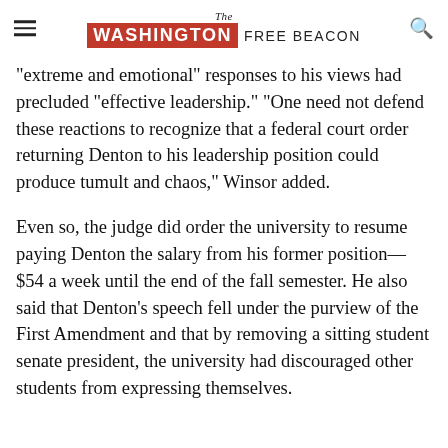The Washington Free Beacon
"extreme and emotional" responses to his views had precluded "effective leadership." "One need not defend these reactions to recognize that a federal court order returning Denton to his leadership position could produce tumult and chaos," Winsor added.
Even so, the judge did order the university to resume paying Denton the salary from his former position—$54 a week until the end of the fall semester. He also said that Denton's speech fell under the purview of the First Amendment and that by removing a sitting student senate president, the university had discouraged other students from expressing themselves.